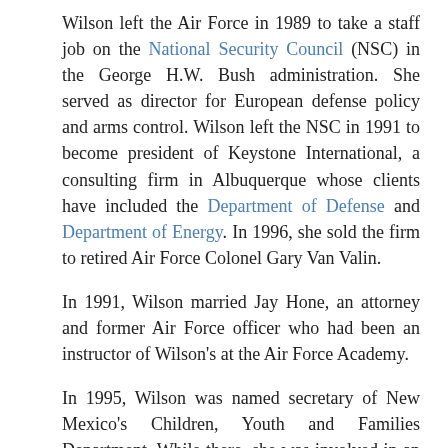Wilson left the Air Force in 1989 to take a staff job on the National Security Council (NSC) in the George H.W. Bush administration. She served as director for European defense policy and arms control. Wilson left the NSC in 1991 to become president of Keystone International, a consulting firm in Albuquerque whose clients have included the Department of Defense and Department of Energy. In 1996, she sold the firm to retired Air Force Colonel Gary Van Valin.
In 1991, Wilson married Jay Hone, an attorney and former Air Force officer who had been an instructor of Wilson's at the Air Force Academy.
In 1995, Wilson was named secretary of New Mexico's Children, Youth and Families Department. While there, she was involved in an incident that came back to bite her during her political career. She ordered that a file with information about Hone's background as a foster parent be moved to another office. The file contained a 1993 Albuquerque police report naming Hone in a possible sexual touching case involving a youth whose legal interest Hone was handling. The touching was found to have been inadvertent. Wilson defended the movement of